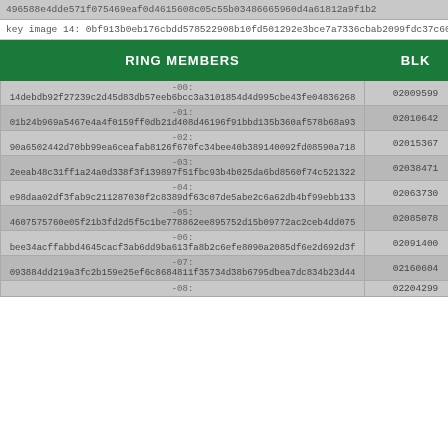496588e4dde571f075469eaf0d4615608c05c55b03486665960d4a6181 2a9f1b2
key image 14: 0bf913b0eb176cbdd578522908b10fd501292e3bce7a7336cbab2099fdc37c60
| RING MEMBERS | BLK |
| --- | --- |
| -00:
14debdb92f27239c2d45d83db57eeb6bcc3a3101854d4d995cbe43fe04836268 | 02009599 |
| -01:
01b24b969a5467e4a4f0159ff0db21d408d46196f91bbd135b360af578b68a93 | 02010642 |
| -02:
90a6502442d70bb99ea6ceafab8126f670fc34bee40b389140092fd08590a718 | 02015367 |
| -03:
2eeab48c31ff1a24a0d338f3f139897f51fbc93b4b025da6bd8560f74c521322 | 02038471 |
| -04:
e98daa02df3fab9c211287030f2c8389df63c07de5abe2c6a62db4bf99ebb133 | 02063730 |
| -05:
4607575760e05f21b3fd2d5f5c1be778862ee895752d15b09772ac2ceb4dd075 | 02085078 |
| -06:
bee34acffabbd4645cacf3ab6dd9ba613fa8b2c6efe8090a2085df6e2d692d3f | 02091400 |
| -07:
093884dd219a3fc2b159e25ef6c8684811f35734d38b6795dbea7dc834b23d44 | 02160604 |
| -08: | 02204299 |